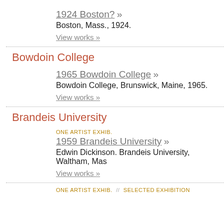1924 Boston? »
Boston, Mass., 1924.
View works »
Bowdoin College
1965 Bowdoin College »
Bowdoin College, Brunswick, Maine, 1965.
View works »
Brandeis University
ONE ARTIST EXHIB.
1959 Brandeis University »
Edwin Dickinson. Brandeis University, Waltham, Mas…
View works »
ONE ARTIST EXHIB.  //  SELECTED EXHIBITION